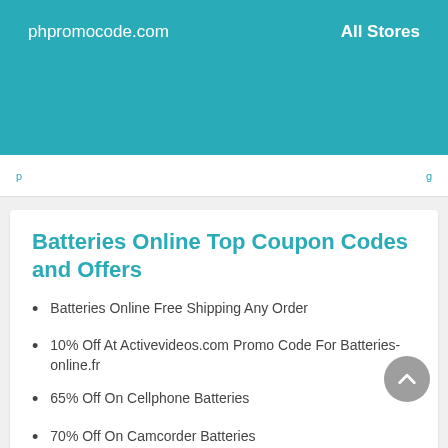phpromocode.com   All Stores
Batteries Online Top Coupon Codes and Offers
Batteries Online Free Shipping Any Order
10% Off At Activevideos.com Promo Code For Batteries-online.fr
65% Off On Cellphone Batteries
70% Off On Camcorder Batteries
20% Off Power Tool Batteries